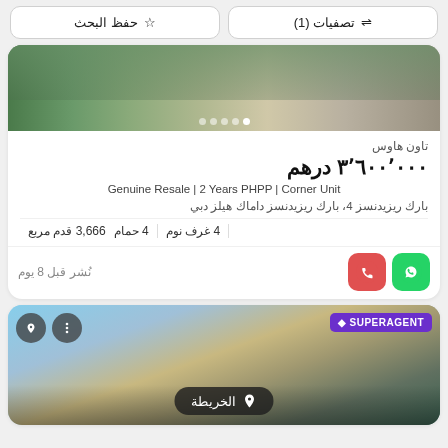تصفيات (1)
حفظ البحث
[Figure (photo): Exterior photo of a residential townhouse/villa with green trees and modern façade]
تاون هاوس
٣٬٦٠٠٬٠٠٠ درهم
Genuine Resale | 2 Years PHPP | Corner Unit
بارك ريزيدنسز 4، بارك ريزيدنسز داماك هيلز دبي
4 غرف نوم  4 حمام  3,666 قدم مربع
نُشر قبل 8 يوم
[Figure (photo): Exterior photo of a modern villa with blue sky, stone cladding and glass windows, with SUPERAGENT badge and map/contact overlay buttons]